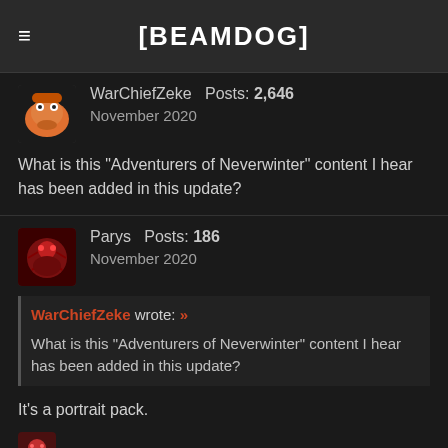[BEAMDOG]
WarChiefZeke  Posts: 2,646
November 2020

What is this "Adventurers of Neverwinter" content I hear has been added in this update?
Parys  Posts: 186
November 2020

WarChiefZeke wrote: »
What is this "Adventurers of Neverwinter" content I hear has been added in this update?

It's a portrait pack.